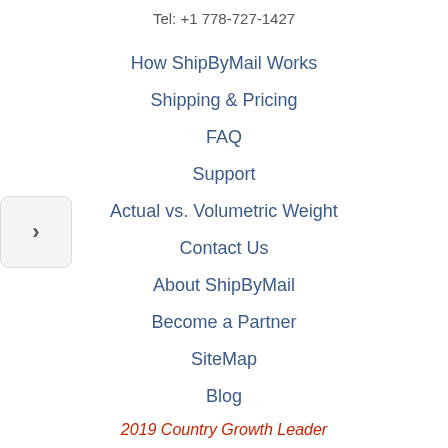Tel: +1 778-727-1427
How ShipByMail Works
Shipping & Pricing
FAQ
Support
Actual vs. Volumetric Weight
Contact Us
About ShipByMail
Become a Partner
SiteMap
Blog
2019 Country Growth Leader